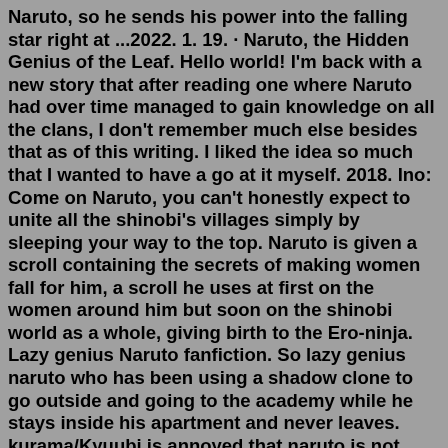Naruto, so he sends his power into the falling star right at ...2022. 1. 19. · Naruto, the Hidden Genius of the Leaf. Hello world! I'm back with a new story that after reading one where Naruto had over time managed to gain knowledge on all the clans, I don't remember much else besides that as of this writing. I liked the idea so much that I wanted to have a go at it myself. 2018. Ino: Come on Naruto, you can't honestly expect to unite all the shinobi's villages simply by sleeping your way to the top. Naruto is given a scroll containing the secrets of making women fall for him, a scroll he uses at first on the women around him but soon on the shinobi world as a whole, giving birth to the Ero-ninja. Lazy genius Naruto fanfiction. So lazy genius naruto who has been using a shadow clone to go outside and going to the academy while he stays inside his apartment and never leaves. kurama/Kyuubi is annoyed that naruto is not doing something more productive with his Geniusness (idk if thats a real word but using it anyways) I think he